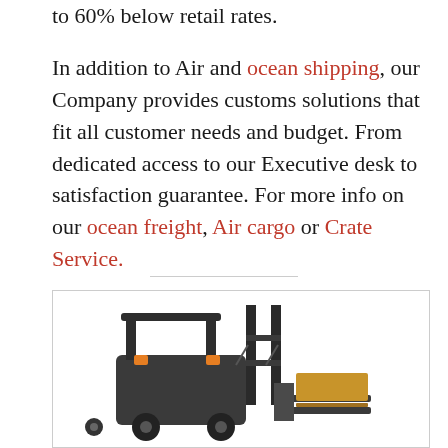to 60% below retail rates.

In addition to Air and ocean shipping, our Company provides customs solutions that fit all customer needs and budget. From dedicated access to our Executive desk to satisfaction guarantee. For more info on our ocean freight, Air cargo or Crate Service.
[Figure (photo): A yellow and black industrial forklift photographed on a white background, shown from a front-side angle.]